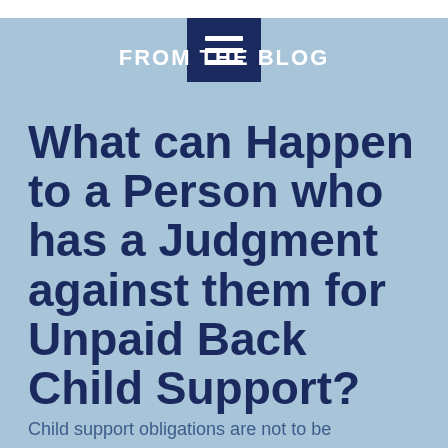FROM THE BLOG
What can Happen to a Person who has a Judgment against them for Unpaid Back Child Support?
Child support obligations are not to be